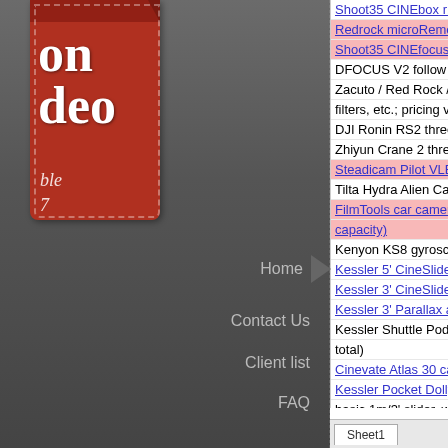[Figure (illustration): Red ribbon banner on dark gray sidebar with large white bold text 'on deo' (part of 'on Video'), italic text 'ble' and '7' partially visible, with dashed stitch border]
Shoot35 CINEbox r1 mattebox with top a...
Redrock microRemote wireless/wired fo... (highlighted)
Shoot35 CINEfocus r2 follow focus with... (highlighted)
DFOCUS V2 follow focus with gears
Zacuto / Red Rock / CPM / Gini shoulde... filters, etc.; pricing varies depending on e...
DJI Ronin RS2 three axis gimbal (expan...
Zhiyun Crane 2 three axis brushless gim...
Steadicam Pilot VLB (highlighted link)
Tilta Hydra Alien Car Mounting System -...
FilmTools car camera support rig with 4 ... capacity) (highlighted link)
Kenyon KS8 gyroscope kit (12# capacity...
Kessler 5' CineSlider (link)
Kessler 3' CineSlider (link)
Kessler 3' Parallax automatic panning de... (link)
Kessler Shuttle Pod Mini with grabber w... total)
Cinevate Atlas 30 camera slider, with ch... (link)
Kessler Pocket Dolly v2.0 (traveler lengt... (link)
basic 1m/3' slider, with rail, and friction b...
Indie-Dolly Systems dolly with seat, 12' s... (link)
EZFX EZ Jib 8ft jib; 50# capacity, with pe... (link)
EZFX jib extension kit - +4/+8ft, for up to... (link)
Kessler CineDrive three axis motion con... (highlighted)
Sheet1 (tab label)
Home
Contact Us
Client list
FAQ